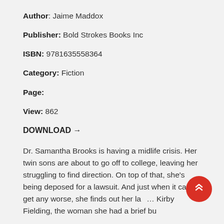Author: Jaime Maddox
Publisher: Bold Strokes Books Inc
ISBN: 9781635558364
Category: Fiction
Page:
View: 862
DOWNLOAD →
Dr. Samantha Brooks is having a midlife crisis. Her twin sons are about to go off to college, leaving her struggling to find direction. On top of that, she's being deposed for a lawsuit. And just when it can't get any worse, she finds out her law… Kirby Fielding, the woman she had a brief but